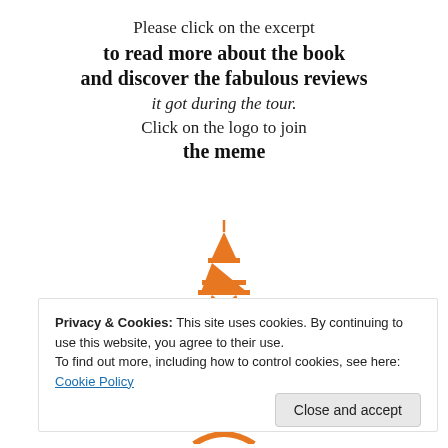Please click on the excerpt to read more about the book and discover the fabulous reviews it got during the tour. Click on the logo to join the meme
[Figure (illustration): Orange Eiffel Tower illustration used as a logo]
Buy the book here
Privacy & Cookies: This site uses cookies. By continuing to use this website, you agree to their use.
To find out more, including how to control cookies, see here: Cookie Policy
Close and accept